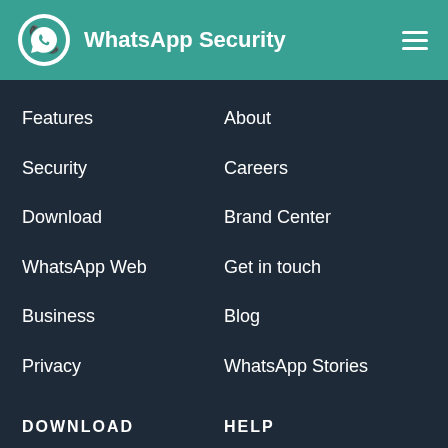WhatsApp Security
Features
About
Security
Careers
Download
Brand Center
WhatsApp Web
Get in touch
Business
Blog
Privacy
WhatsApp Stories
DOWNLOAD
HELP
Mac/PC
Help Center
Android
Twitter